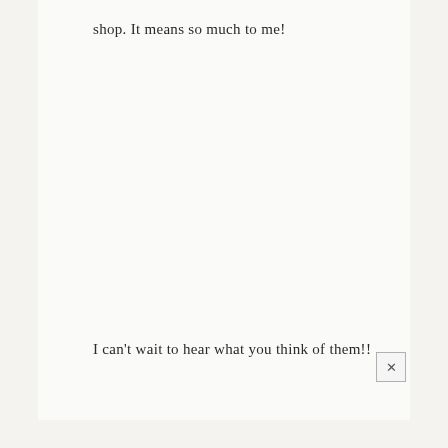shop. It means so much to me!
I can't wait to hear what you think of them!!